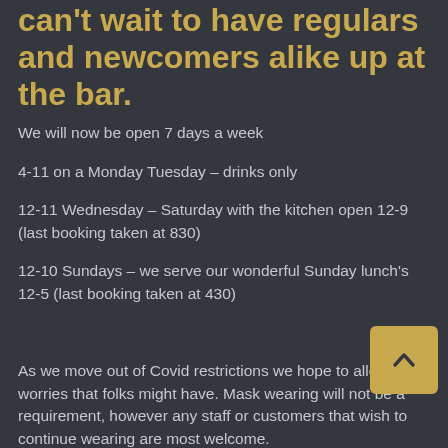can't wait to have regulars and newcomers alike up at the bar.
We will now be open 7 days a week
4-11 on a Monday Tuesday – drinks only
12-11 Wednesday – Saturday with the kitchen open 12-9 (last booking taken at 830)
12-10 Sundays – we serve our wonderful Sunday lunch's 12-5 (last booking taken at 430)
As we move out of Covid restrictions we hope to alleviate worries that folks might have. Mask wearing will not be a requirement, however any staff or customers that wish to continue wearing are most welcome.
There will be no limit on group sizes inside or out, although we will